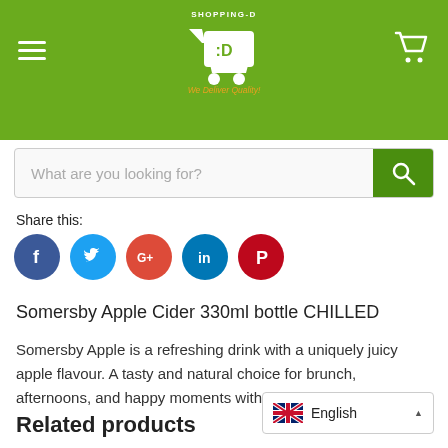SHOPPING-D :D — We Deliver Quality!
What are you looking for?
Share this:
[Figure (other): Social media share icons: Facebook (blue), Twitter (light blue), Google+ (red), LinkedIn (dark blue), Pinterest (red)]
Somersby Apple Cider 330ml bottle CHILLED
Somersby Apple is a refreshing drink with a uniquely juicy apple flavour. A tasty and natural choice for brunch, afternoons, and happy moments with your friends.
Related products
English